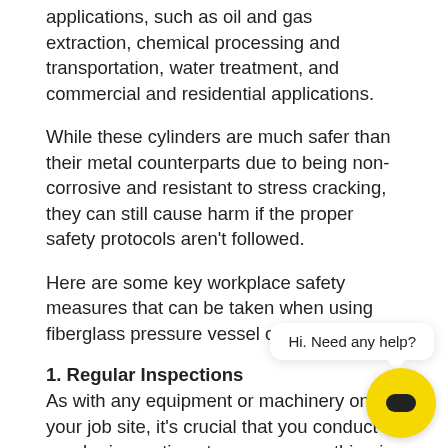applications, such as oil and gas extraction, chemical processing and transportation, water treatment, and commercial and residential applications.
While these cylinders are much safer than their metal counterparts due to being non-corrosive and resistant to stress cracking, they can still cause harm if the proper safety protocols aren't followed.
Here are some key workplace safety measures that can be taken when using fiberglass pressure vessel cylinders.
1. Regular Inspections
As with any equipment or machinery on your job site, it's crucial that you conduct regular inspections to ensure everything is in good working condition.
Be sure to examine each cylinder for signs of cracks. Even if the exterior surface looks fine, you should check damage inside the vessel by performing hydrostatic pressure